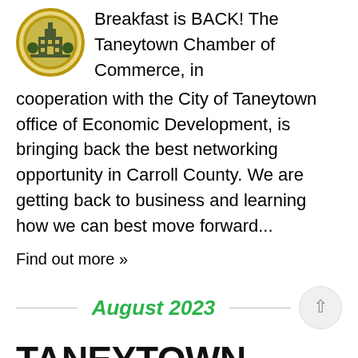[Figure (logo): Taneytown Chamber of Commerce circular logo with building illustration, gold/olive border]
Breakfast is BACK! The Taneytown Chamber of Commerce, in cooperation with the City of Taneytown office of Economic Development, is bringing back the best networking opportunity in Carroll County. We are getting back to business and learning how we can best move forward...
Find out more »
August 2023
TANEYTOWN BUSINESS